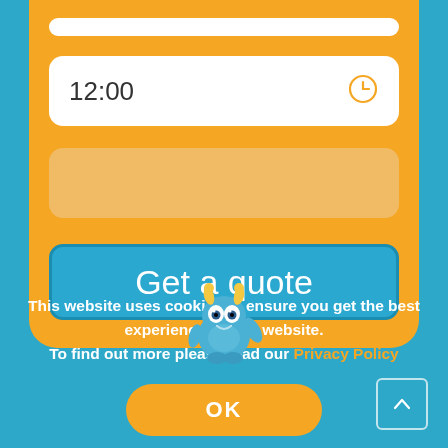[Figure (screenshot): Mobile app UI showing an orange card with a time input field displaying 12:00 with a clock icon, a greyed-out placeholder field, and a blue Get a quote button]
12:00
Get a quote
[Figure (illustration): Blue monster mascot character with yellow horns, large eyes, waving one arm]
This website uses cookies to ensure you get the best experience on our website.
To find out more please read our Privacy Policy
OK